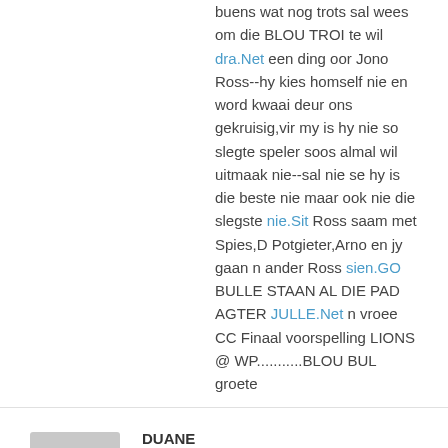buens wat nog trots sal wees om die BLOU TROI te wil dra.Net een ding oor Jono Ross--hy kies homself nie en word kwaai deur ons gekruisig,vir my is hy nie so slegte speler soos almal wil uitmaak nie--sal nie se hy is die beste nie maar ook nie die slegste nie.Sit Ross saam met Spies,D Potgieter,Arno en jy gaan n ander Ross sien.GO BULLE STAAN AL DIE PAD AGTER JULLE.Net n vroee CC Finaal voorspelling LIONS @ WP...........BLOU BUL groete
DUANE
Jul 24, 2014 at 10:49 AM
Wel die span gaan aan ploeter ek sal geld op sit ons sal nie finals maak die jaar nie.
In enige sport nodig mens dinamiese spelers, vat krieket het ons De Villiers, Steyn ens. Spelers uniek en wat nie gematch kan word nie.